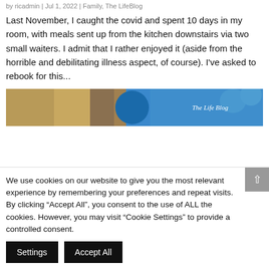by ricadmin | Jul 1, 2022 | Family, The LifeBlog
Last November, I caught the covid and spent 10 days in my room, with meals sent up from the kitchen downstairs via two small waiters. I admit that I rather enjoyed it (aside from the horrible and debilitating illness aspect, of course). I've asked to rebook for this...
[Figure (photo): Partial image strip showing a blue background with 'The Life Blog' text overlay]
We use cookies on our website to give you the most relevant experience by remembering your preferences and repeat visits. By clicking "Accept All", you consent to the use of ALL the cookies. However, you may visit "Cookie Settings" to provide a controlled consent.
Settings   Accept All